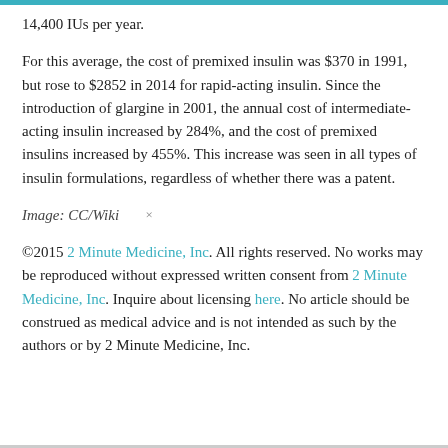14,400 IUs per year.
For this average, the cost of premixed insulin was $370 in 1991, but rose to $2852 in 2014 for rapid-acting insulin. Since the introduction of glargine in 2001, the annual cost of intermediate-acting insulin increased by 284%, and the cost of premixed insulins increased by 455%. This increase was seen in all types of insulin formulations, regardless of whether there was a patent.
Image: CC/Wiki ×
©2015 2 Minute Medicine, Inc. All rights reserved. No works may be reproduced without expressed written consent from 2 Minute Medicine, Inc. Inquire about licensing here. No article should be construed as medical advice and is not intended as such by the authors or by 2 Minute Medicine, Inc.